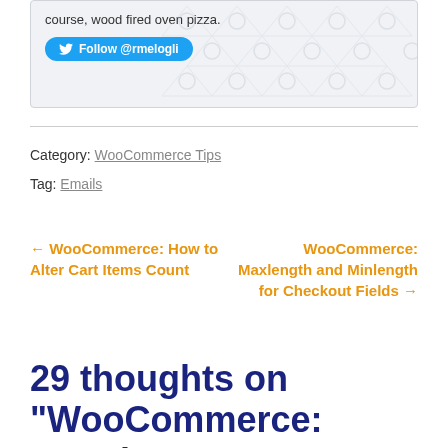[Figure (screenshot): Twitter follow card with text 'course, wood fired oven pizza.' and a blue Follow @rmelogli button, with decorative hexagon/triangle pattern background on right side]
Category: WooCommerce Tips
Tag: Emails
← WooCommerce: How to Alter Cart Items Count
WooCommerce: Maxlength and Minlength for Checkout Fields →
29 thoughts on "WooCommerce: Attach